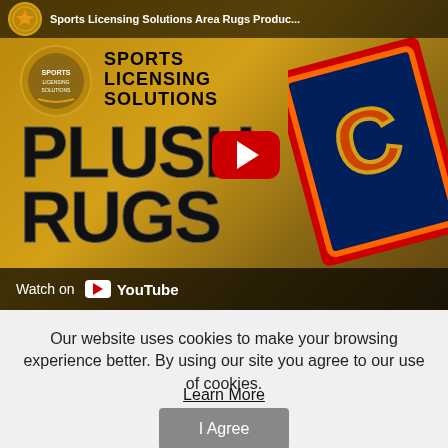[Figure (screenshot): YouTube video thumbnail for 'Sports Licensing Solutions Area Rugs Product' showing a plush rugs promotional image with the Sports Licensing Solutions logo, large text reading 'PLUSH RUGS', a YouTube play button overlay, and Chicago Bears branded rug visible on the right. Bottom bar shows 'Watch on YouTube'.]
Our website uses cookies to make your browsing experience better. By using our site you agree to our use of cookies.
Learn More
I Agree